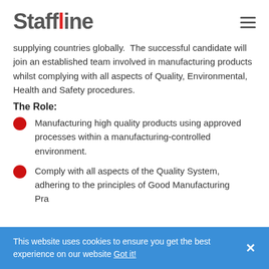Staffline
supplying countries globally. The successful candidate will join an established team involved in manufacturing products whilst complying with all aspects of Quality, Environmental, Health and Safety procedures.
The Role:
Manufacturing high quality products using approved processes within a manufacturing-controlled environment.
Comply with all aspects of the Quality System, adhering to the principles of Good Manufacturing Practice, ensuring products manufactured
This website uses cookies to ensure you get the best experience on our website Got it!